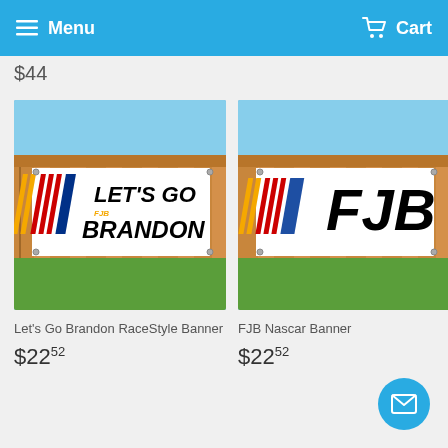Menu   Cart
$44
[Figure (photo): Let's Go Brandon RaceStyle Banner hung on a wooden fence - white banner with NASCAR-style racing stripes in red, yellow, and blue, text reads LET'S GO BRANDON with FJB below]
Let's Go Brandon RaceStyle Banner
$22.52
[Figure (photo): FJB Nascar Banner hung on a wooden fence - white banner with NASCAR-style racing stripes in yellow, red, and blue, text reads FJB in large black letters]
FJB Nascar Banner
$22.52